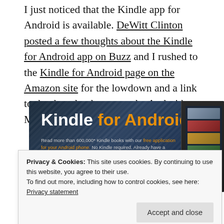I just noticed that the Kindle app for Android is available. DeWitt Clinton posted a few thoughts about the Kindle for Android app on Buzz and I rushed to the Kindle for Android page on the Amazon site for the lowdown and a link to the download page on the Android Marketplace.
[Figure (screenshot): Kindle for Android promotional banner showing title 'Kindle for Android' with text about reading 600,000+ Kindle books with a free application for Android phone, with Whispersync feature mentioned, and a phone mockup on the right.]
Privacy & Cookies: This site uses cookies. By continuing to use this website, you agree to their use.
To find out more, including how to control cookies, see here: Privacy statement
Amazon's Kindle service is now available on the